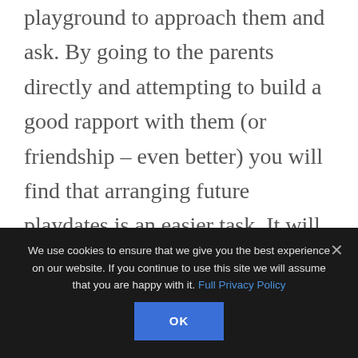playground to approach them and ask. By going to the parents directly and attempting to build a good rapport with them (or friendship – even better) you will find that arranging future playdates is an easier task. It will also give you the opportunity to tell the parents about SM and raise a little awareness. This will help them understand your situation and
We use cookies to ensure that we give you the best experience on our website. If you continue to use this site we will assume that you are happy with it. Full Privacy Policy